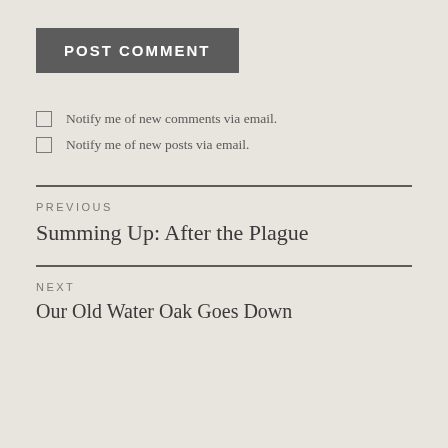POST COMMENT
Notify me of new comments via email.
Notify me of new posts via email.
PREVIOUS
Summing Up: After the Plague
NEXT
Our Old Water Oak Goes Down